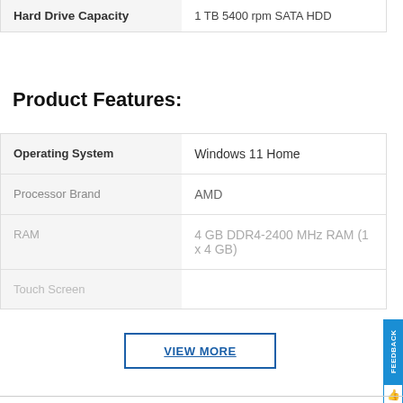| Property | Value |
| --- | --- |
| Hard Drive Capacity | 1 TB 5400 rpm SATA HDD |
Product Features:
| Property | Value |
| --- | --- |
| Operating System | Windows 11 Home |
| Processor Brand | AMD |
| RAM | 4 GB DDR4-2400 MHz RAM (1 x 4 GB) |
| Touch Screen |  |
VIEW MORE
Leasing FAQs
Does Aaron's check my credit?
As part of our digital approval processes, Aaron's